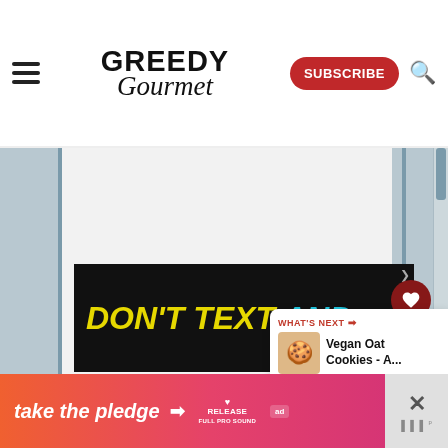Greedy Gourmet - SUBSCRIBE
[Figure (screenshot): Website screenshot showing Greedy Gourmet food blog header with hamburger menu, logo, Subscribe button, and search icon]
[Figure (other): NHTSA advertisement banner: DON'T TEXT AND [car emoji] NHTS with ad badge]
[Figure (other): What's Next panel showing Vegan Oat Cookies - A... with cookie image thumbnail]
[Figure (other): Bottom banner ad: take the pledge arrow RELEASE ad badge with close X button]